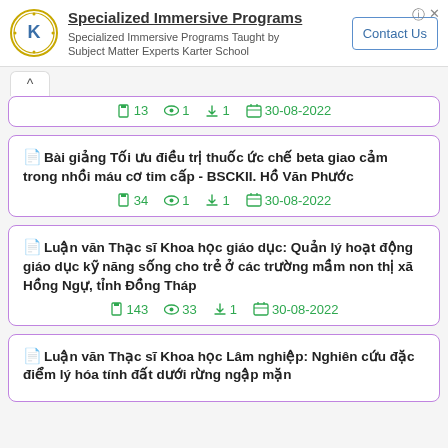[Figure (screenshot): Advertisement banner for Specialized Immersive Programs by Karter School with logo and Contact Us button]
13 pages · 1 view · 1 download · 30-08-2022 (partial card top)
Bài giảng Tối ưu điều trị thuốc ức chế beta giao cảm trong nhồi máu cơ tim cấp - BSCKII. Hồ Văn Phước · 34 pages · 1 view · 1 download · 30-08-2022
Luận văn Thạc sĩ Khoa học giáo dục: Quản lý hoạt động giáo dục kỹ năng sống cho trẻ ở các trường mầm non thị xã Hồng Ngự, tỉnh Đồng Tháp · 143 pages · 33 views · 1 download · 30-08-2022
Luận văn Thạc sĩ Khoa học Lâm nghiệp: Nghiên cứu đặc điểm lý hóa tính đất dưới rừng ngập mặn…